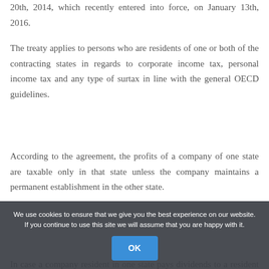20th, 2014, which recently entered into force, on January 13th, 2016.
The treaty applies to persons who are residents of one or both of the contracting states in regards to corporate income tax, personal income tax and any type of surtax in line with the general OECD guidelines.
According to the agreement, the profits of a company of one state are taxable only in that state unless the company maintains a permanent establishment in the other state.
In case a company resident in one state pays dividends to a resident of the other state, the withholding tax applicable cannot exceed:
We use cookies to ensure that we give you the best experience on our website. If you continue to use this site we will assume that you are happy with it. OK